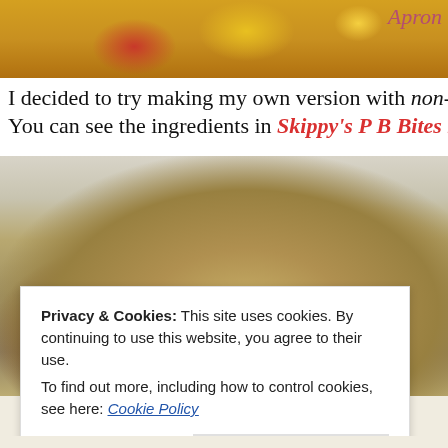[Figure (photo): Top portion of a food blog page showing candy/snack packaging with yellow and red colors, and a cursive signature in pink at top right]
I decided to try making my own version with non-m… You can see the ingredients in Skippy's P B Bites he…
[Figure (photo): Close-up photo of mixed nuts and seeds including sliced almonds, sunflower seeds, and oats on a white dotted surface]
Privacy & Cookies: This site uses cookies. By continuing to use this website, you agree to their use. To find out more, including how to control cookies, see here: Cookie Policy
Close and accept
[Figure (logo): The Painted Apron logo at the bottom of the page]